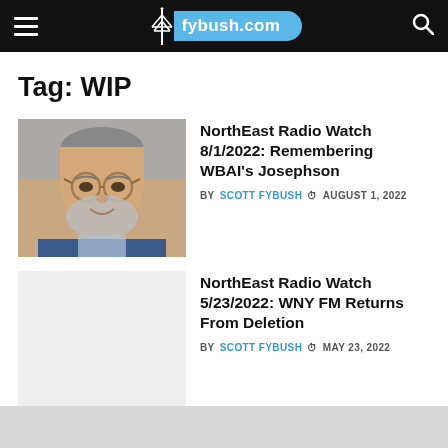fybush.com
Tag: WIP
NorthEast Radio Watch 8/1/2022: Remembering WBAI's Josephson
BY SCOTT FYBUSH  AUGUST 1, 2022
[Figure (photo): Headshot of a bearded man with glasses, smiling, wearing a blue jacket]
NorthEast Radio Watch 5/23/2022: WNY FM Returns From Deletion
BY SCOTT FYBUSH  MAY 23, 2022